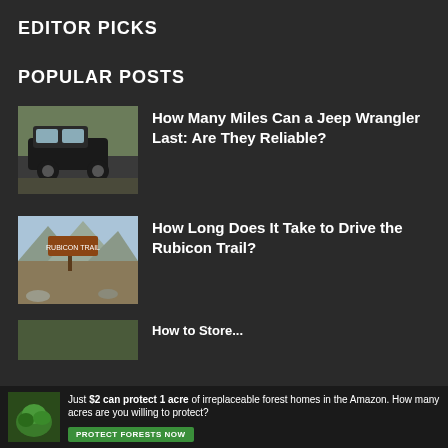EDITOR PICKS
POPULAR POSTS
How Many Miles Can a Jeep Wrangler Last: Are They Reliable?
How Long Does It Take to Drive the Rubicon Trail?
[Figure (photo): Advertisement banner: forest/amazon conservation ad with green plant image, text 'Just $2 can protect 1 acre of irreplaceable forest homes in the Amazon. How many acres are you willing to protect?' and green 'PROTECT FORESTS NOW' button]